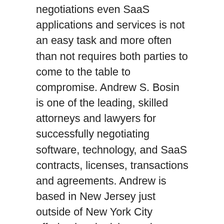negotiations even SaaS applications and services is not an easy task and more often than not requires both parties to come to the table to compromise. Andrew S. Bosin is one of the leading, skilled attorneys and lawyers for successfully negotiating software, technology, and SaaS contracts, licenses, transactions and agreements. Andrew is based in New Jersey just outside of New York City offering legal advice and services to clients all across the United States. Please call Andrew at 201-446-9643 for a free initial software contracts negotiation legal consultation.
Andrew offers legal advice and represents tech startups, software companies, mature companies, privately held businesses,